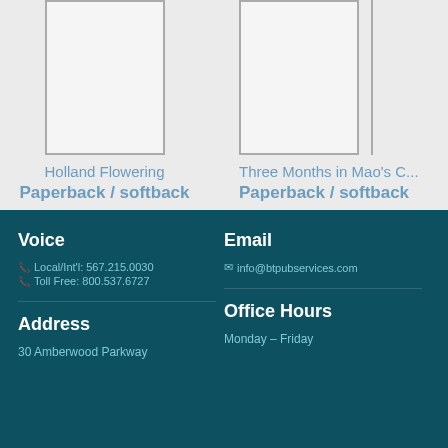[Figure (illustration): Book cover placeholder for Holland Flowering - light gray rectangle with border]
Holland Flowering
Paperback / softback
[Figure (illustration): Book cover placeholder for Three Months in Mao's C... - partial gray rectangle with right border visible]
Three Months in Mao's C...
Paperback / softback
Voice
Local/Int'l: 567.215.0030
Toll Free: 800.537.6727
Email
info@btpubservices.com
Address
30 Amberwood Parkway
Office Hours
Monday – Friday